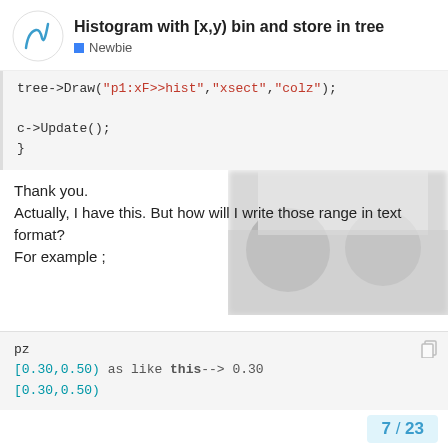Histogram with [x,y] bin and store in tree — Newbie
[Figure (screenshot): Code snippet showing tree->Draw("p1:xF>>hist","xsect","colz"); c->Update(); }]
Thank you.
Actually, I have this. But how will I write those range in text format?
For example ;
[Figure (photo): Blurred/obscured person image in background of text area]
[Figure (screenshot): Code block showing: pz
[0.30,0.50)    as  like this-->    0.30
[0.30,0.50)
...
..
[0.50,0.62)                                         0.5
..]
7 / 23